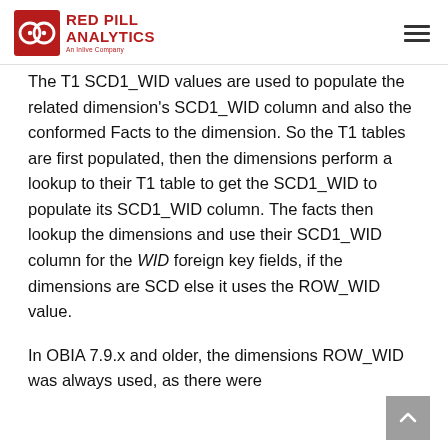Red Pill Analytics — An Inlive Company
The T1 SCD1_WID values are used to populate the related dimension's SCD1_WID column and also the conformed Facts to the dimension. So the T1 tables are first populated, then the dimensions perform a lookup to their T1 table to get the SCD1_WID to populate its SCD1_WID column. The facts then lookup the dimensions and use their SCD1_WID column for the WID foreign key fields, if the dimensions are SCD else it uses the ROW_WID value.
In OBIA 7.9.x and older, the dimensions ROW_WID was always used, as there were